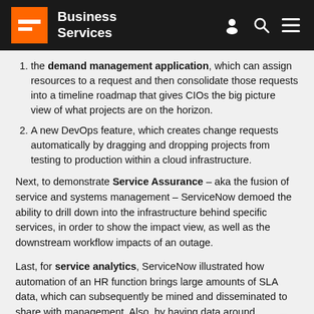Business Services
the demand management application, which can assign resources to a request and then consolidate those requests into a timeline roadmap that gives CIOs the big picture view of what projects are on the horizon.
A new DevOps feature, which creates change requests automatically by dragging and dropping projects from testing to production within a cloud infrastructure.
Next, to demonstrate Service Assurance – aka the fusion of service and systems management – ServiceNow demoed the ability to drill down into the infrastructure behind specific services, in order to show the impact view, as well as the downstream workflow impacts of an outage.
Last, for service analytics, ServiceNow illustrated how automation of an HR function brings large amounts of SLA data, which can subsequently be mined and disseminated to share with management. Also, by having data around questions most frequently raised, the business can automate the most popular